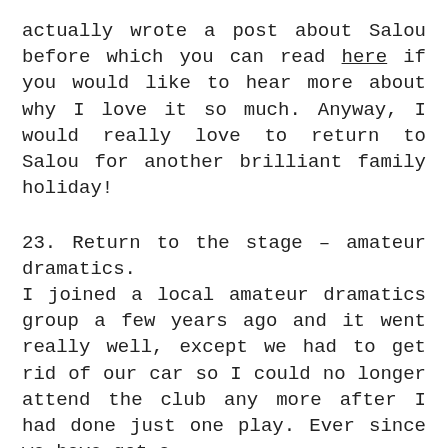actually wrote a post about Salou before which you can read here if you would like to hear more about why I love it so much. Anyway, I would really love to return to Salou for another brilliant family holiday!
23. Return to the stage – amateur dramatics. I joined a local amateur dramatics group a few years ago and it went really well, except we had to get rid of our car so I could no longer attend the club any more after I had done just one play. Ever since we have got a
This website uses cookies to improve your experience. We'll assume you're ok with this, but you can opt-out if you wish.